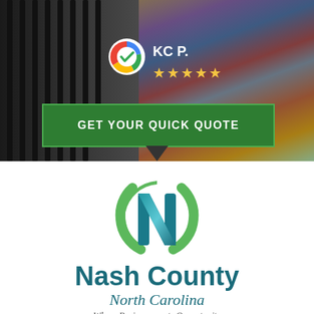[Figure (photo): Background photo of a person in a colorful sweater with arms crossed, standing near a metal fence, with a Google review badge showing KC P. and 5 stars, and a green 'GET YOUR QUICK QUOTE' button overlay]
KC P.
★★★★★
GET YOUR QUICK QUOTE
[Figure (logo): Nash County North Carolina logo with a stylized green and teal letter N in a circle, text reads 'Nash County North Carolina' and tagline 'Where Business meets Opportunity']
Nash County
North Carolina
Where Business meets Opportunity